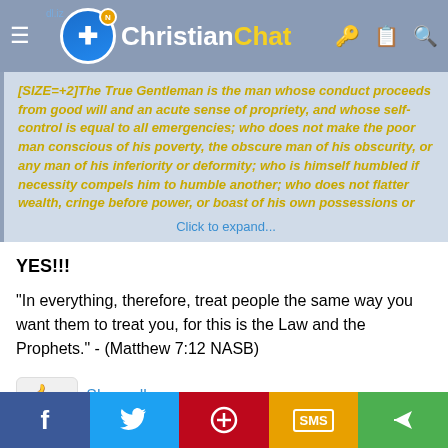Christian Chat
[SIZE=+2]The True Gentleman is the man whose conduct proceeds from good will and an acute sense of propriety, and whose self-control is equal to all emergencies; who does not make the poor man conscious of his poverty, the obscure man of his obscurity, or any man of his inferiority or deformity; who is himself humbled if necessity compels him to humble another; who does not flatter wealth, cringe before power, or boast of his own possessions or
Click to expand...
YES!!!
"In everything, therefore, treat people the same way you want them to treat you, for this is the Law and the Prophets." - (Matthew 7:12 NASB)
1  Show all
f  [Twitter]  [Pinterest]  SMS  [Share]